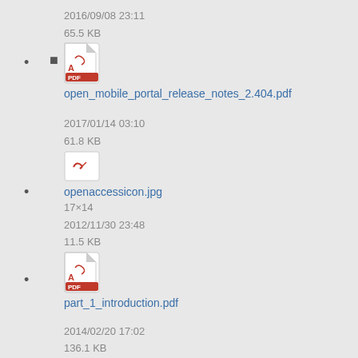open_mobile_portal_release_notes_2.404.pdf
2016/09/08 23:11
65.5 KB
openaccessicon.jpg
17×14
2017/01/14 03:10
61.8 KB
2012/11/30 23:48
11.5 KB
part_1_introduction.pdf
2014/02/20 17:02
136.1 KB